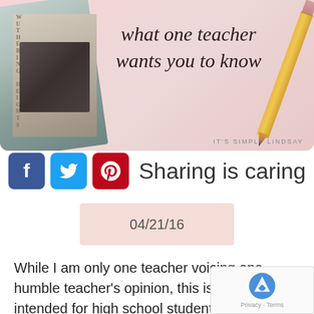[Figure (illustration): Blog header image with pink background, a book (Wuthering Heights visible), a pencil, and handwritten-style text reading 'what one teacher wants you to know'. Branding 'IT'S SIMPLY LINDSAY' in bottom right.]
Sharing is caring
04/21/16
While I am only one teacher voicing one humble teacher's opinion, this is a letter intended for high school students everywhere. Maybe this applies to you and maybe not. Maybe you read it and